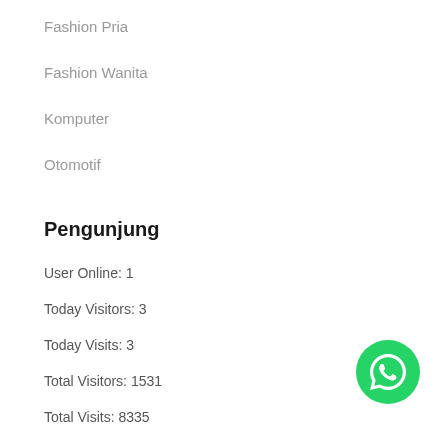Fashion Pria
Fashion Wanita
Komputer
Otomotif
Pengunjung
User Online: 1
Today Visitors: 3
Today Visits: 3
Total Visitors: 1531
Total Visits: 8335
[Figure (logo): WhatsApp green circle button icon]